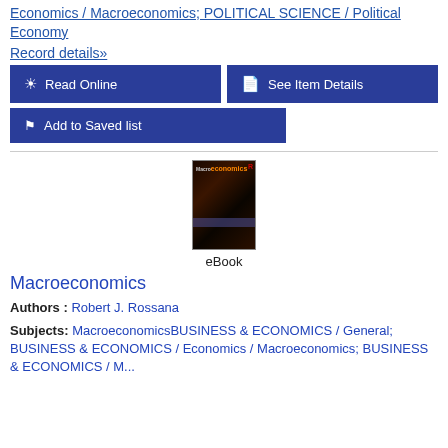Economics / Macroeconomics; POLITICAL SCIENCE / Political Economy
Record details»
Read Online
See Item Details
Add to Saved list
[Figure (photo): Book cover thumbnail of Macroeconomics eBook]
eBook
Macroeconomics
Authors : Robert J. Rossana
Subjects: MacroeconomicsBUSINESS & ECONOMICS / General; BUSINESS & ECONOMICS / Economics / Macroeconomics; BUSINESS & ECONOMICS / M...